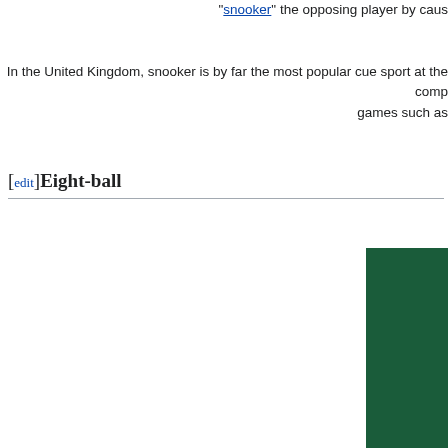"snooker" the opposing player by caus
In the United Kingdom, snooker is by far the most popular cue sport at the comp games such as
[edit]Eight-ball
[Figure (photo): Billiard balls on a green pool table, showing striped and solid balls including a red ball with number 11]
In the United States, the most commonly-played game is eight-ball. The goal of e stripes or solids in the US, and reds or yellows in the UK), pocket all of them, then b without sinking the 8 ball early by accident. On the professional scene, eight-ball p IPT nearly folded in 2007, and as of 2008 is attempting a comeback). In the United of the Atlantic. The most prestigious tournaments including the World Open are s between continents to such an extent that British-style eight-ball pool/blackball is settling upon the World Pool-Billiard Association International Standardised Rules. a "winner keeps the table" manner, can differ significantly even between two ve